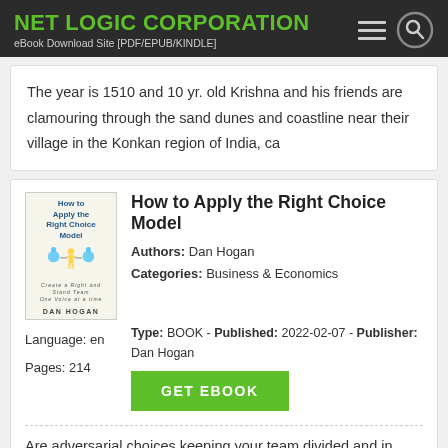NET LOGIC CORPORATION
eBook Download Site [PDF/EPUB/KINDLE]
The year is 1510 and 10 yr. old Krishna and his friends are clamouring through the sand dunes and coastline near their village in the Konkan region of India, ca
How to Apply the Right Choice Model
Authors: Dan Hogan
Categories: Business & Economics
Type: BOOK - Published: 2022-02-07 - Publisher: Dan Hogan
Language: en
Pages: 214
Are adversarial choices keeping your team divided and in conflict? The Right Choice Model paves the way for teammates to do no harm and work as one. Share the R